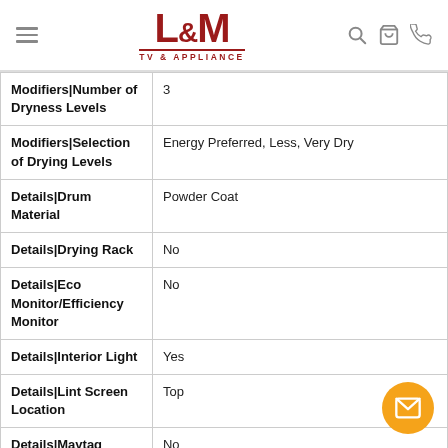L&M TV & APPLIANCE
| Attribute | Value |
| --- | --- |
| Modifiers|Number of Dryness Levels | 3 |
| Modifiers|Selection of Drying Levels | Energy Preferred, Less, Very Dry |
| Details|Drum Material | Powder Coat |
| Details|Drying Rack | No |
| Details|Eco Monitor/Efficiency Monitor | No |
| Details|Interior Light | Yes |
| Details|Lint Screen Location | Top |
| Details|Maytag Commercial Components | No |